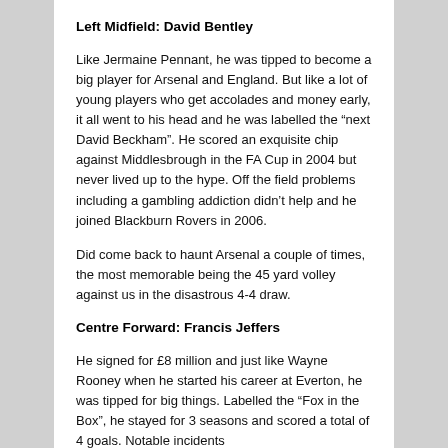Left Midfield: David Bentley
Like Jermaine Pennant, he was tipped to become a big player for Arsenal and England. But like a lot of young players who get accolades and money early, it all went to his head and he was labelled the “next David Beckham”. He scored an exquisite chip against Middlesbrough in the FA Cup in 2004 but never lived up to the hype. Off the field problems including a gambling addiction didn’t help and he joined Blackburn Rovers in 2006.
Did come back to haunt Arsenal a couple of times, the most memorable being the 45 yard volley against us in the disastrous 4-4 draw.
Centre Forward: Francis Jeffers
He signed for £8 million and just like Wayne Rooney when he started his career at Everton, he was tipped for big things. Labelled the “Fox in the Box”, he stayed for 3 seasons and scored a total of 4 goals. Notable incidents